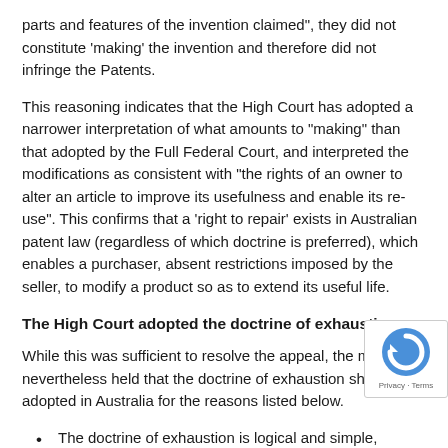parts and features of the invention claimed", they did not constitute 'making' the invention and therefore did not infringe the Patents.
This reasoning indicates that the High Court has adopted a narrower interpretation of what amounts to “making” than that adopted by the Full Federal Court, and interpreted the modifications as consistent with “the rights of an owner to alter an article to improve its usefulness and enable its re-use”. This confirms that a ‘right to repair’ exists in Australian patent law (regardless of which doctrine is preferred), which enables a purchaser, absent restrictions imposed by the seller, to modify a product so as to extend its useful life.
The High Court adopted the doctrine of exhaustion
While this was sufficient to resolve the appeal, the majority nevertheless held that the doctrine of exhaustion should be adopted in Australia for the reasons listed below.
The doctrine of exhaustion is logical and simple, whereas the implied licence doctrine may give rise to difficult questions concerning whether restrictions were imposed on a purchaser and whether subsequent purchasers...